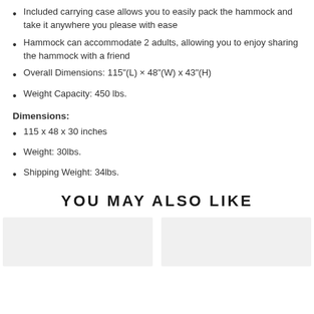Included carrying case allows you to easily pack the hammock and take it anywhere you please with ease
Hammock can accommodate 2 adults, allowing you to enjoy sharing the hammock with a friend
Overall Dimensions: 115"(L) × 48"(W) x 43"(H)
Weight Capacity: 450 lbs.
Dimensions:
115 x 48 x 30 inches
Weight: 30lbs.
Shipping Weight: 34lbs.
YOU MAY ALSO LIKE
[Figure (photo): Product image placeholder (left)]
[Figure (photo): Product image placeholder (right)]